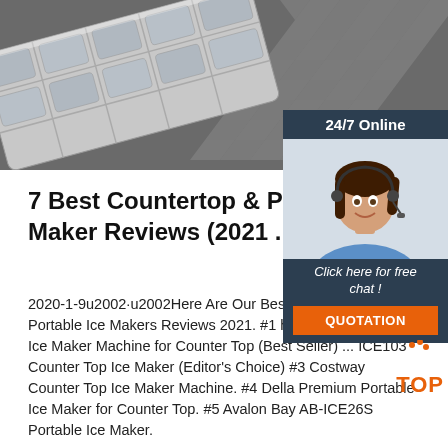[Figure (photo): Top-down photo of stainless steel ice cube tray on dark surface with geometric patterned background]
[Figure (photo): Customer service chat widget showing woman with headset, '24/7 Online' text, 'Click here for free chat!', and orange QUOTATION button]
7 Best Countertop & Portable Ice Maker Reviews (2021 ...
2020-1-9u2002·u2002Here Are Our Best Countertop & Portable Ice Makers Reviews 2021. #1 hOmeLabs Portable Ice Maker Machine for Counter Top (Best Seller) ... ICE103 Counter Top Ice Maker (Editor's Choice) #3 Costway Counter Top Ice Maker Machine. #4 Della Premium Portable Ice Maker for Counter Top. #5 Avalon Bay AB-ICE26S Portable Ice Maker.